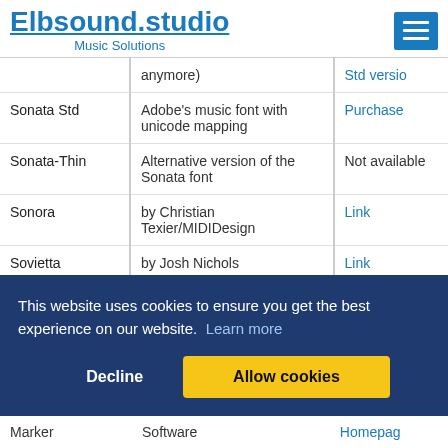Elbsound.studio Music Solutions
| Font | Description | Link |
| --- | --- | --- |
|  | anymore) | Std versio |
| Sonata Std | Adobe's music font with unicode mapping | Purchase |
| Sonata-Thin | Alternative version of the Sonata font | Not available |
| Sonora | by Christian Texier/MIDIDesign | Link |
| Sovietta | by Josh Nichols | Link |
| SPP_5_1 | From Score Perfect | Link |
| SPW | Voyetra Sequencer Plus | Not available |
|  |  | omepag |
|  |  | rchase |
|  |  | mepag |
| Marker | Software | Homepag |